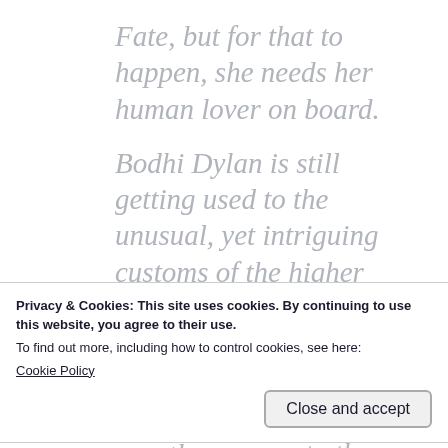Fate, but for that to happen, she needs her human lover on board.
Bodhi Dylan is still getting used to the unusual, yet intriguing customs of the higher races. He’s fallen head over heels for the beautiful dark-skinned chimera, but doubts he can measure up to the prowess of his
Privacy & Cookies: This site uses cookies. By continuing to use this website, you agree to their use.
To find out more, including how to control cookies, see here:
Cookie Policy
Deva’s proposition, that’s exactly